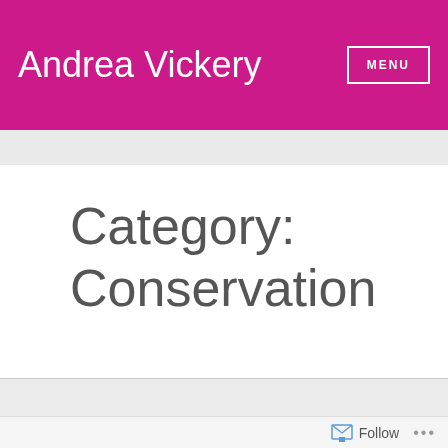Andrea Vickery
Category: Conservation
Follow ...